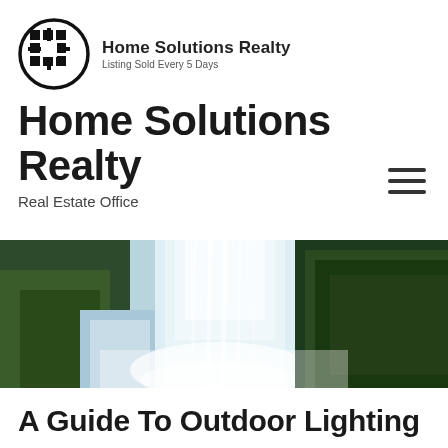[Figure (logo): Home Solutions Realty logo: black circle with grid/hashtag icon, company name and tagline]
Home Solutions Realty
Real Estate Office
[Figure (photo): Wide panoramic photo of a large waterfall with green mossy rocks on both sides and misty water at the base]
A Guide To Outdoor Lighting
MARCH 12, 2017   SELL YOUR HOME